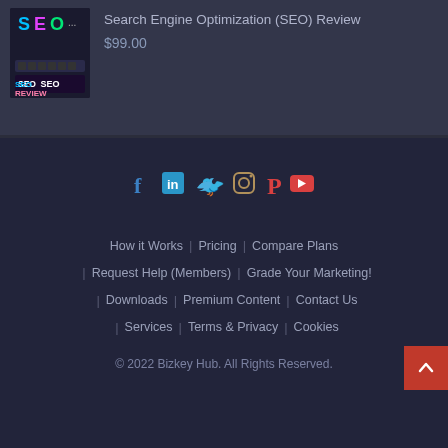[Figure (illustration): SEO Review product thumbnail with dark background, colorful 'SEO' text at top and 'SEO REVIEW' in white/pink block letters below]
Search Engine Optimization (SEO) Review
$99.00
[Figure (infographic): Social media icons row: Facebook (blue f), LinkedIn (in), Twitter (bird), Instagram (camera), Pinterest (P), YouTube (play button)]
How it Works | Pricing | Compare Plans
Request Help (Members) | Grade Your Marketing!
Downloads | Premium Content | Contact Us
Services | Terms & Privacy | Cookies
© 2022 Bizkey Hub. All Rights Reserved.